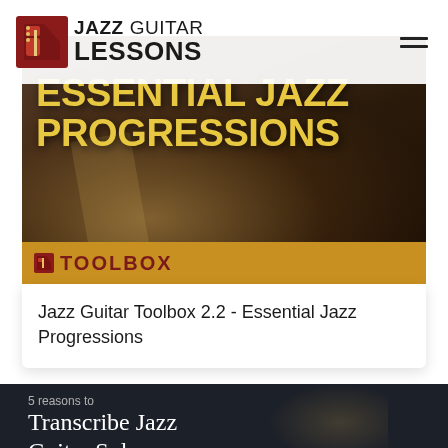Jazz Guitar Lessons
[Figure (photo): Jazz guitar player hand close-up with text overlay reading ESSENTIAL JAZZ PROGRESSIONS and TOOLBOX logo on golden banner]
Jazz Guitar Toolbox 2.2 - Essential Jazz Progressions
5 reasons to
Transcribe Jazz Guitar Solos